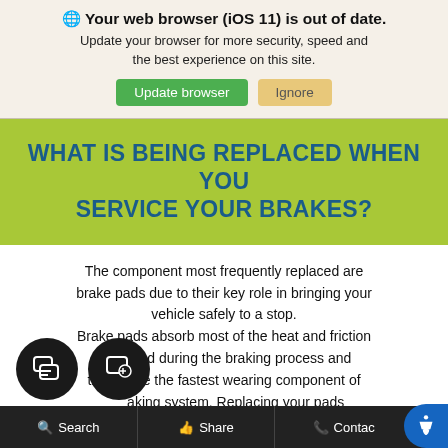🌐 Your web browser (iOS 11) is out of date. Update your browser for more security, speed and the best experience on this site.
Update browser | Ignore
WHAT IS BEING REPLACED WHEN YOU SERVICE YOUR BRAKES?
The component most frequently replaced are brake pads due to their key role in bringing your vehicle safely to a stop. Brake pads absorb most of the heat and friction produced during the braking process and there are the fastest wearing component of the braking system. Replacing your pads regularly can extend the life of your more expensive brake rotors.
Search | Share | Contact